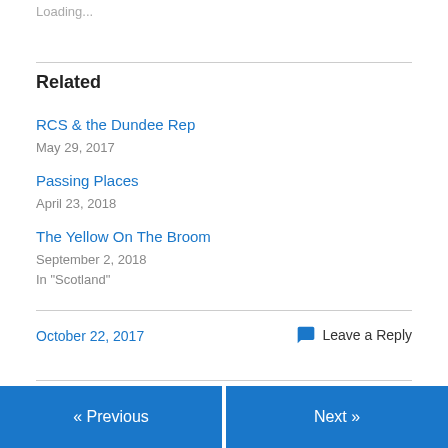Loading...
Related
RCS & the Dundee Rep
May 29, 2017
Passing Places
April 23, 2018
The Yellow On The Broom
September 2, 2018
In "Scotland"
October 22, 2017
Leave a Reply
« Previous   Next »